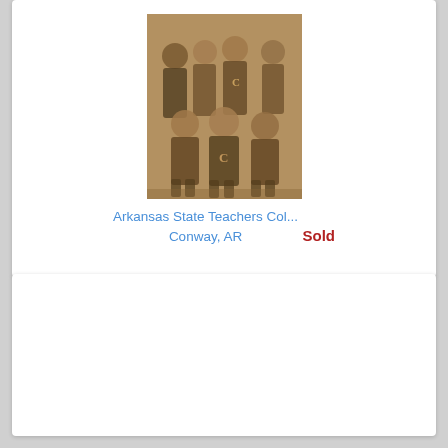[Figure (photo): Vintage sepia-toned photograph of a group of men in athletic uniforms with the letter C on their jerseys, posed as a sports team, likely a basketball team from Arkansas State Teachers College.]
Arkansas State Teachers Col...
Conway, AR
Sold